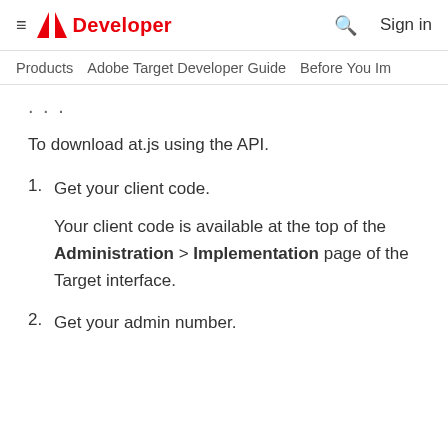≡ Adobe Developer  🔍  Sign in
Products  Adobe Target Developer Guide  Before You Im…
...
To download at.js using the API.
1. Get your client code.
Your client code is available at the top of the Administration > Implementation page of the Target interface.
2. Get your admin number.